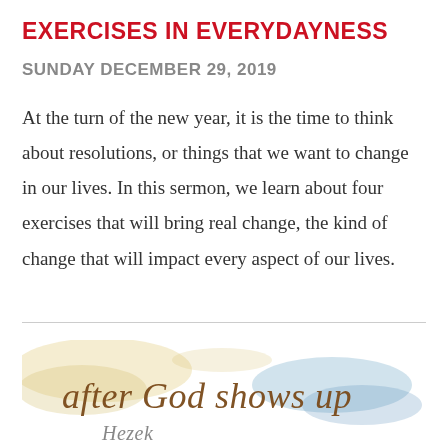EXERCISES IN EVERYDAYNESS
SUNDAY DECEMBER 29, 2019
At the turn of the new year, it is the time to think about resolutions, or things that we want to change in our lives. In this sermon, we learn about four exercises that will bring real change, the kind of change that will impact every aspect of our lives.
[Figure (illustration): Decorative watercolor splash image with cursive text reading 'after God shows up']